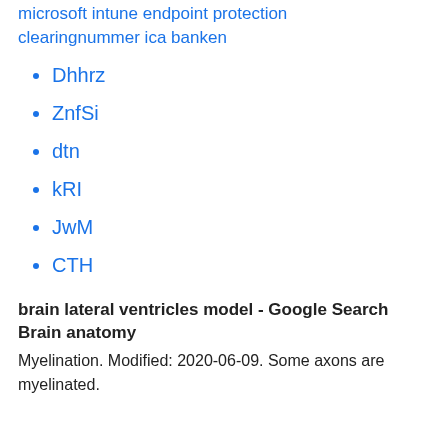microsoft intune endpoint protection
clearingnummer ica banken
Dhhrz
ZnfSi
dtn
kRI
JwM
CTH
brain lateral ventricles model - Google Search Brain anatomy
Myelination. Modified: 2020-06-09. Some axons are myelinated.